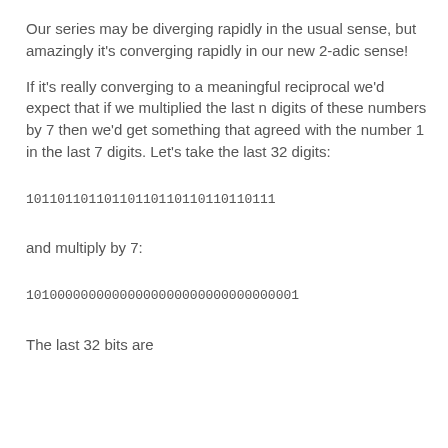Our series may be diverging rapidly in the usual sense, but amazingly it's converging rapidly in our new 2-adic sense!
If it's really converging to a meaningful reciprocal we'd expect that if we multiplied the last n digits of these numbers by 7 then we'd get something that agreed with the number 1 in the last 7 digits. Let's take the last 32 digits:
10110110110110110110110110110111
and multiply by 7:
10100000000000000000000000000000001
The last 32 bits are